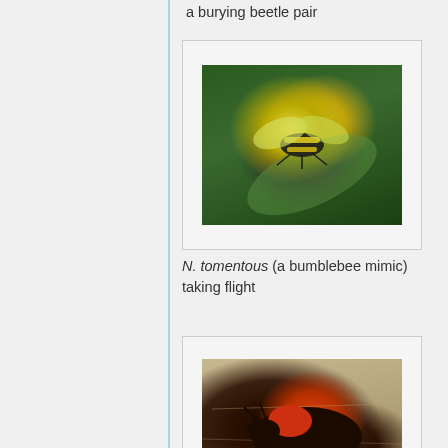a burying beetle pair
[Figure (photo): N. tomentous (a bumblebee mimic) taking flight, shown on a green leaf with yellow and black coloring]
N. tomentous (a bumblebee mimic) taking flight
[Figure (photo): N. americanus and N. — beetles on sandy ground, showing orange-red and black coloring]
N. americanus and N.